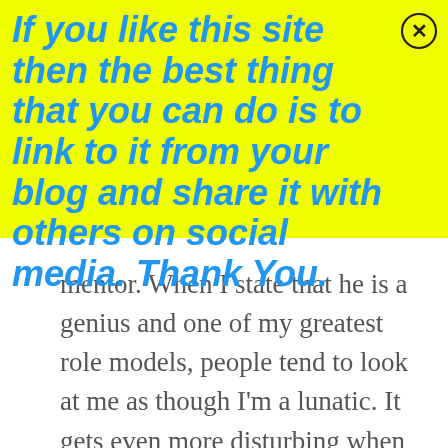If you like this site then the best thing that you can do is to link to it from your blog and share it with others on social media.  Thank You.
[Figure (illustration): Close button: circle with X inside, top-right corner of yellow banner]
mentor.  When I state that he is a genius and one of my greatest role models, people tend to look at me as though I'm a lunatic.  It gets even more disturbing when they find out that I mentor other people for a living.  How can